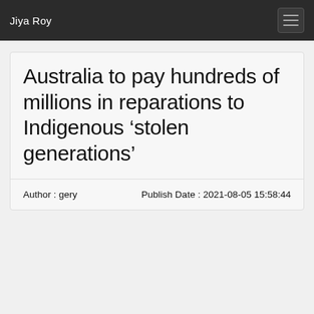Jiya Roy
Australia to pay hundreds of millions in reparations to Indigenous ‘stolen generations’
Author : gery    Publish Date : 2021-08-05 15:58:44